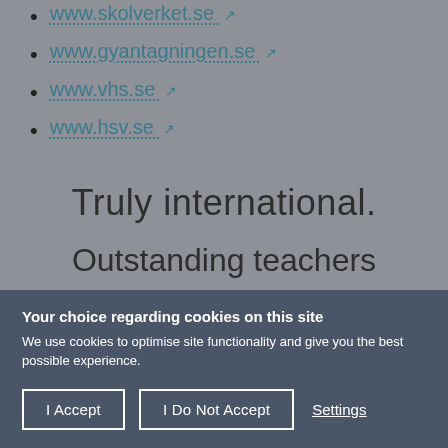www.skolverket.se ↗
www.gyantagningen.se ↗
www.vhs.se ↗
www.hsv.se ↗
Truly international.
Outstanding teachers
Your choice regarding cookies on this site
We use cookies to optimise site functionality and give you the best possible experience.
I Accept | I Do Not Accept | Settings